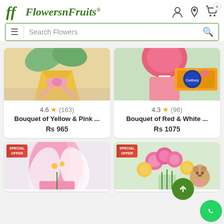[Figure (logo): FlowersnFruits logo with stylized green italic text and plant icon]
Search Flowers
[Figure (photo): Bouquet of Yellow and Pink flowers wrapped in yellow paper with pink ribbon]
4.6 ★ (163)
Bouquet of Yellow & Pink ...
Rs 965
[Figure (photo): Bouquet of Red and White flowers with Cadbury chocolate box]
4.3 ★ (96)
Bouquet of Red & White ...
Rs 1075
[Figure (photo): Pink lily bouquet with SPECIAL OFFER badge]
[Figure (photo): Pink and yellow roses with teddy bear and SPECIAL OFFER badge]